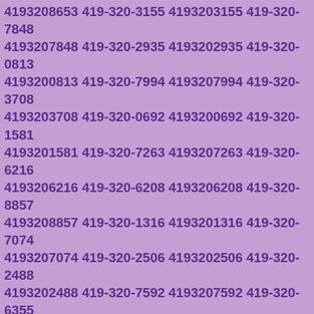4193208653 419-320-3155 4193203155 419-320-7848 4193207848 419-320-2935 4193202935 419-320-0813 4193200813 419-320-7994 4193207994 419-320-3708 4193203708 419-320-0692 4193200692 419-320-1581 4193201581 419-320-7263 4193207263 419-320-6216 4193206216 419-320-6208 4193206208 419-320-8857 4193208857 419-320-1316 4193201316 419-320-7074 4193207074 419-320-2506 4193202506 419-320-2488 4193202488 419-320-7592 4193207592 419-320-6355 4193206355 419-320-1616 4193201616 419-320-9399 4193209399 419-320-2735 4193202735 419-320-5347 4193205347 419-320-6619 4193206619 419-320-5030 4193205030 419-320-5913 4193205913 419-320-7875 4193207875 419-320-2043 4193202043 419-320-1453 4193201453 419-320-6205 4193206205 419-320-8186 4193208186 419-320-9622 4193209622 419-320-4015 4193204015 419-320-6161 4193206161 419-320-8395 4193208395 419-320-7564 4193207564 419-320-2753 4193202753 419-320-7687 4193207687 419-320-1293 4193201293 419-320-4619 4193204619 419-320-9407 4193209407 419-320-5090 4193205090 419-320-9469